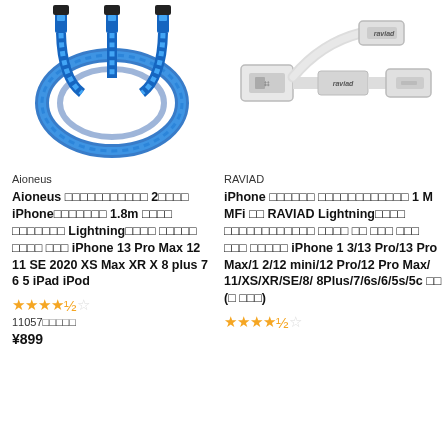[Figure (photo): Blue braided USB lightning cables (3-pack) coiled in a circle, with 3 connector ends at top]
[Figure (photo): White USB-A to Lightning cable showing both connectors, RAVIAD branding on the connector]
Aioneus
Aioneus □□□□□□□□□□□ 2□□□□ iPhone□□□□□□□ 1.8m □□□□ □□□□□□□ Lightning□□□□ □□□□□ □□□□ □□□ iPhone 13 Pro Max 12 11 SE 2020 XS Max XR X 8 plus 7 6 5 iPad iPod
★★★★½ 11057□□□□□
¥899
RAVIAD
iPhone □□□□□□ □□□□□□□□□□□□ 1 M MFi □□ RAVIAD Lightning□□□□ □□□□□□□□□□□□ □□□□ □□ □□□ □□□ □□□ □□□□□ iPhone 1 3/13 Pro/13 Pro Max/1 2/12 mini/12 Pro/12 Pro Max/ 11/XS/XR/SE/8/ 8Plus/7/6s/6/5s/5c □□ (□ □□□)
★★★★½